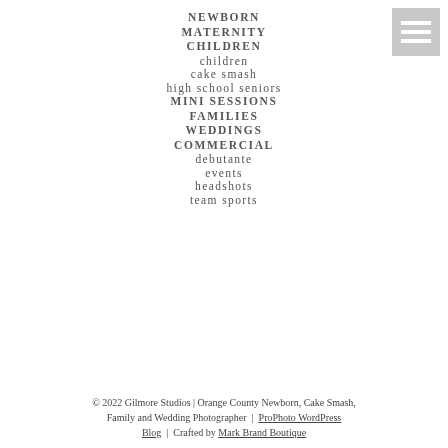NEWBORN
MATERNITY
CHILDREN
children
cake smash
high school seniors
MINI SESSIONS
FAMILIES
WEDDINGS
COMMERCIAL
debutante
events
headshots
team sports
© 2022 Gilmore Studios | Orange County Newborn, Cake Smash, Family and Wedding Photographer  |  ProPhoto WordPress Blog  |  Crafted by Mark Brand Boutique